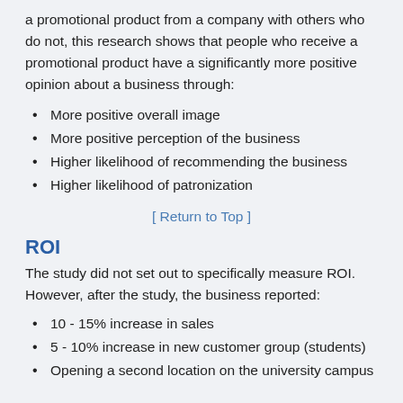a promotional product from a company with others who do not, this research shows that people who receive a promotional product have a significantly more positive opinion about a business through:
More positive overall image
More positive perception of the business
Higher likelihood of recommending the business
Higher likelihood of patronization
[ Return to Top ]
ROI
The study did not set out to specifically measure ROI. However, after the study, the business reported:
10 - 15% increase in sales
5 - 10% increase in new customer group (students)
Opening a second location on the university campus